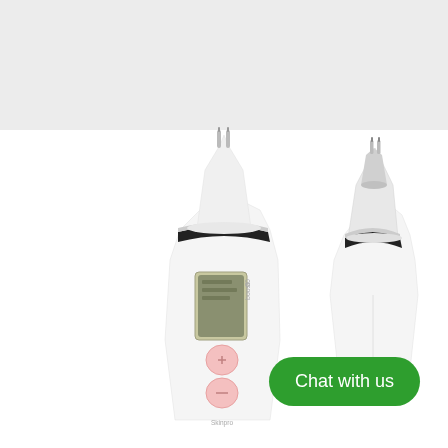[Figure (photo): Two white beauty/skincare devices shown side by side on a white background. The left device is taller and slimmer, featuring a dark LCD display screen in the middle, two pink circular buttons below it, and a tapered tip at the top with small metal prongs. It has a black and silver ring separating the top nozzle from the handle. Small text 'Skinpro' is visible at the bottom. The right device is similar in shape but without buttons or a screen — it is the top attachment piece only, with a darker tapered nozzle tip and a silver ring collar. Both appear to be blackhead remover or skin care suction devices.]
Chat with us